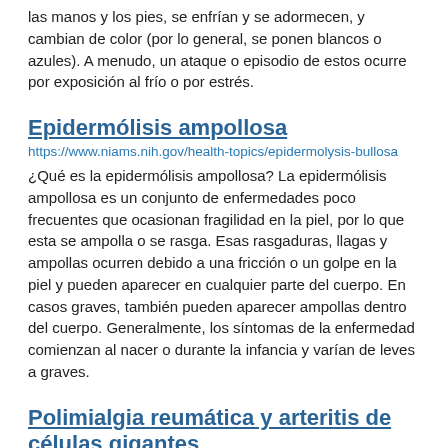las manos y los pies, se enfrían y se adormecen, y cambian de color (por lo general, se ponen blancos o azules). A menudo, un ataque o episodio de estos ocurre por exposición al frío o por estrés.
Epidermólisis ampollosa
https://www.niams.nih.gov/health-topics/epidermolysis-bullosa
¿Qué es la epidermólisis ampollosa? La epidermólisis ampollosa es un conjunto de enfermedades poco frecuentes que ocasionan fragilidad en la piel, por lo que esta se ampolla o se rasga. Esas rasgaduras, llagas y ampollas ocurren debido a una fricción o un golpe en la piel y pueden aparecer en cualquier parte del cuerpo. En casos graves, también pueden aparecer ampollas dentro del cuerpo. Generalmente, los síntomas de la enfermedad comienzan al nacer o durante la infancia y varían de leves a graves.
Polimialgia reumática y arteritis de células gigantes
https://www.niams.nih.gov/health-topics/polymyalgia-rheumatica-giant-cell-arteritis
¿Qué son la polimialgia reumática y la arteritis de células gigantes? La polimialgia reumática y la arteritis de células gigantes son trastornos inflamatorios estrechamente relacionados. Algunas personas tienen uno de los trastornos, mientras que otras desarrollan